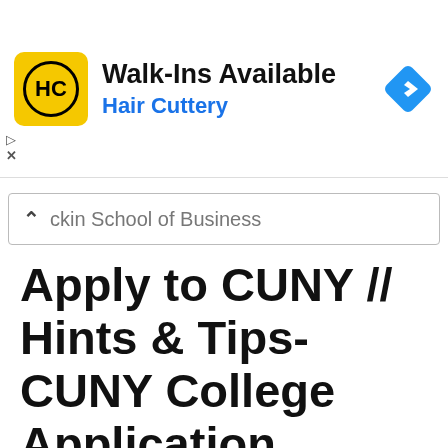[Figure (screenshot): Hair Cuttery advertisement banner with yellow HC logo, 'Walk-Ins Available' heading, 'Hair Cuttery' subtitle in blue, and a blue diamond navigation arrow on the right]
ckin School of Business
Apply to CUNY // Hints & Tips- CUNY College Application
[Figure (screenshot): YouTube video thumbnail showing 'Apply to CUNY // Hints & Tips- C...' with a woman and text 'Apply with Me' on a banner, with a YouTube play button overlay]